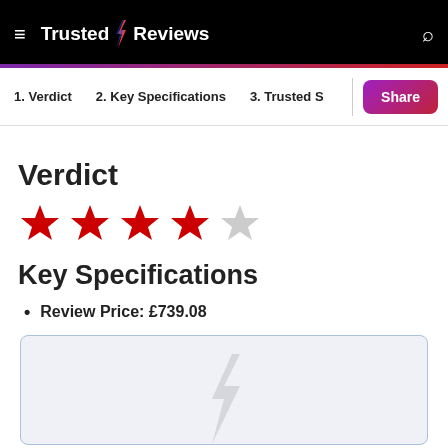Trusted Reviews
1. Verdict   2. Key Specifications   3. Trusted S
Verdict
[Figure (other): 4 out of 5 stars rating: 4 red filled stars and 1 grey empty star]
Key Specifications
Review Price: £739.08
[Figure (photo): Product image placeholder with a faint lightning bolt icon on light blue-grey background]